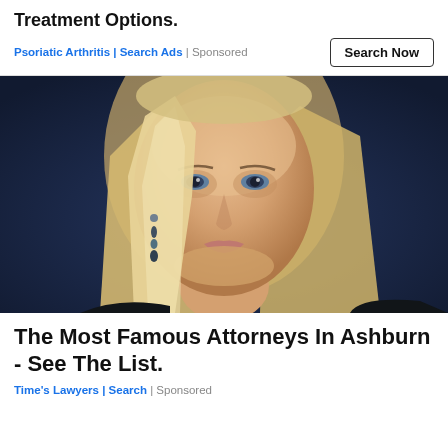Treatment Options.
Psoriatic Arthritis | Search Ads | Sponsored
Search Now
[Figure (photo): Close-up portrait of a blonde woman with blue eyes wearing dangling gemstone earrings, against a dark blue background]
The Most Famous Attorneys In Ashburn - See The List.
Time's Lawyers | Search | Sponsored